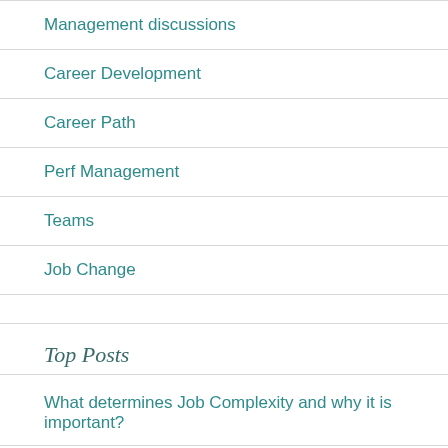Management discussions
Career Development
Career Path
Perf Management
Teams
Job Change
Top Posts
What determines Job Complexity and why it is important?